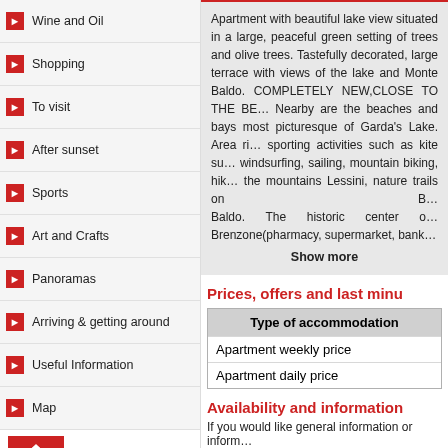Wine and Oil
Shopping
To visit
After sunset
Sports
Art and Crafts
Panoramas
Arriving & getting around
Useful Information
Map
[Figure (logo): HOMES Buying - Selling red house icon banner]
Verona
Valpolicella
Valle di Ledro
Brescia
Mantova
News
Send a post card
Apartment with beautiful lake view situated in a large, peaceful green setting of trees and olive trees. Tastefully decorated, large terrace with views of the lake and Monte Baldo. COMPLETELY NEW,CLOSE TO THE BEACH. Nearby are the beaches and bays most picturesque of Garda's Lake. Area rich in sporting activities such as kite surfing, windsurfing, sailing, mountain biking, hiking in the mountains Lessini, nature trails on Monte Baldo. The historic center of Brenzone(pharmacy, supermarket, bank...
Show more
Prices, offers and last minu
| Type of accommodation |
| --- |
| Apartment weekly price |
| Apartment daily price |
Availability and information
If you would like general information or inform...